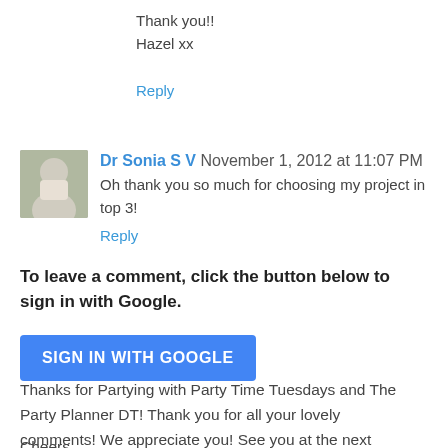Thank you!!
Hazel xx
Reply
Dr Sonia S V  November 1, 2012 at 11:07 PM
Oh thank you so much for choosing my project in top 3!
Reply
To leave a comment, click the button below to sign in with Google.
SIGN IN WITH GOOGLE
Thanks for Partying with Party Time Tuesdays and The Party Planner DT! Thank you for all your lovely comments! We appreciate you! See you at the next challenge!
Cheers,
Jenny & The Party Planner...